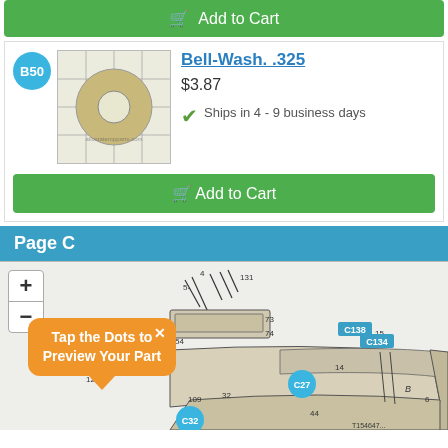[Figure (other): Add to Cart button (green) at top of page]
[Figure (other): Product listing for Bell-Wash. .325 with B50 badge, washer image, price $3.87, ships in 4-9 business days, and Add to Cart button]
Page C
[Figure (engineering-diagram): Engineering parts diagram showing machine assembly with labeled parts C138, C134, C27, C32. Includes zoom controls (+/-) and an orange tooltip bubble saying 'Tap the Dots to Preview Your Part' with an X close button.]